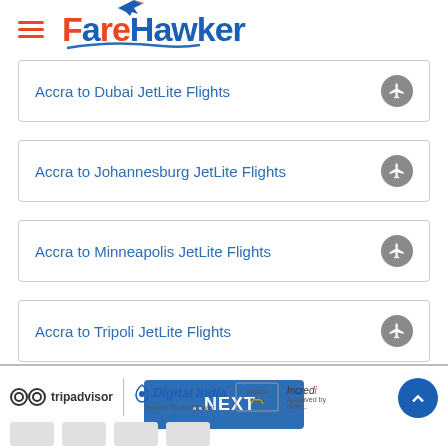FareHawker
Accra to Dubai JetLite Flights
Accra to Johannesburg JetLite Flights
Accra to Minneapolis JetLite Flights
Accra to Tripoli JetLite Flights
..NEXT
tripadvisor | Digital India Power To Empower | Make In India | Incredible India Approved by Govt